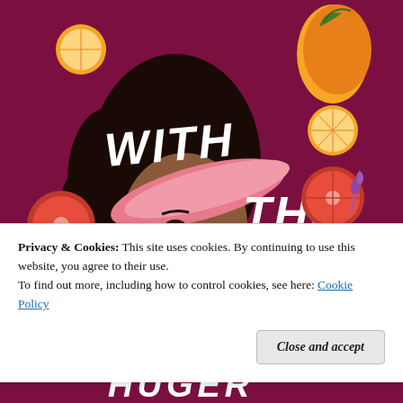[Figure (illustration): Book cover illustration showing a young Black woman with curly hair wearing a pink headband/visor, surrounded by fruits (oranges, mangoes, blood oranges) and flowers on a dark red/maroon background. Large white hand-lettered text reads 'WITH THE' across the image.]
Privacy & Cookies: This site uses cookies. By continuing to use this website, you agree to their use.
To find out more, including how to control cookies, see here: Cookie Policy
Close and accept